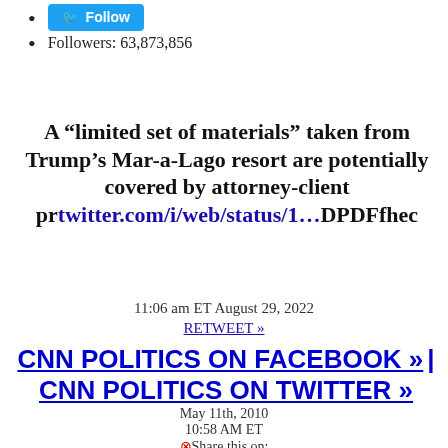Follow
Followers: 63,873,856
A “limited set of materials” taken from Trump’s Mar-a-Lago resort are potentially covered by attorney-client prtwitter.com/i/web/status/1…DPDFfhec
11:06 am ET August 29, 2022
RETWEET »
CNN POLITICS ON FACEBOOK » | CNN POLITICS ON TWITTER »
May 11th, 2010
10:58 AM ET
Share this on: